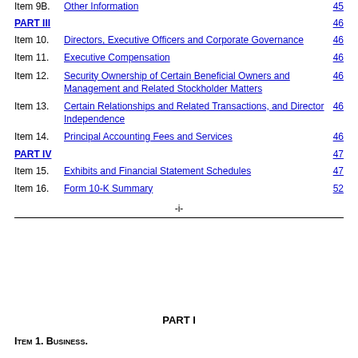Item 9B. Other Information  45
PART III  46
Item 10. Directors, Executive Officers and Corporate Governance  46
Item 11. Executive Compensation  46
Item 12. Security Ownership of Certain Beneficial Owners and Management and Related Stockholder Matters  46
Item 13. Certain Relationships and Related Transactions, and Director Independence  46
Item 14. Principal Accounting Fees and Services  46
PART IV  47
Item 15. Exhibits and Financial Statement Schedules  47
Item 16. Form 10-K Summary  52
-i-
PART I
Item 1. Business.